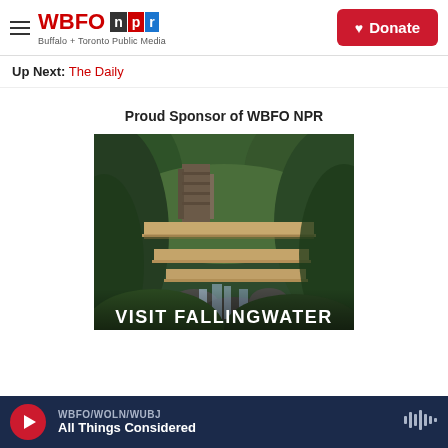WBFO npr — Buffalo + Toronto Public Media | Donate
Up Next: The Daily
Proud Sponsor of WBFO NPR
[Figure (photo): Photo of Fallingwater house by Frank Lloyd Wright, surrounded by green forest with a waterfall below, with text overlay 'VISIT FALLINGWATER']
WBFO/WOLN/WUBJ | All Things Considered